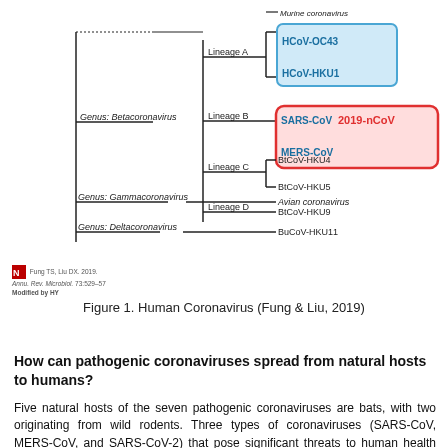[Figure (other): Phylogenetic tree of coronaviruses showing Genus Betacoronavirus with Lineages A (HCoV-OC43, HCoV-HKU1 in blue box), B (SARS-CoV, 2019-nCoV in red box; MERS-CoV in blue inside red), C (BtCoV-HKU4, BtCoV-HKU5), D (BtCoV-HKU9); Genus Gammacoronavirus (Avian coronavirus); Genus Deltacoronavirus (BuCoV-HKU11). Also shows Murine coronavirus at top.]
Figure 1. Human Coronavirus (Fung & Liu, 2019)
How can pathogenic coronaviruses spread from natural hosts to humans?
Five natural hosts of the seven pathogenic coronaviruses are bats, with two originating from wild rodents. Three types of coronaviruses (SARS-CoV, MERS-CoV, and SARS-CoV-2) that pose significant threats to human health are currently believed to have come from bats. The intermediate host of